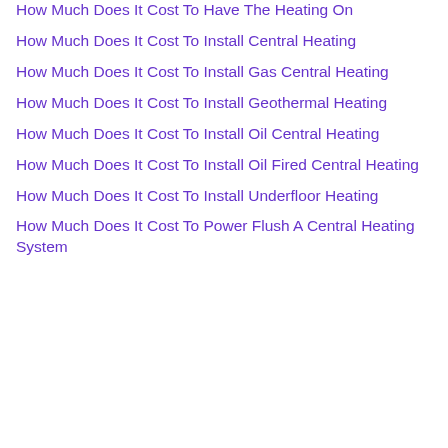How Much Does It Cost To Have The Heating On
How Much Does It Cost To Install Central Heating
How Much Does It Cost To Install Gas Central Heating
How Much Does It Cost To Install Geothermal Heating
How Much Does It Cost To Install Oil Central Heating
How Much Does It Cost To Install Oil Fired Central Heating
How Much Does It Cost To Install Underfloor Heating
How Much Does It Cost To Power Flush A Central Heating System